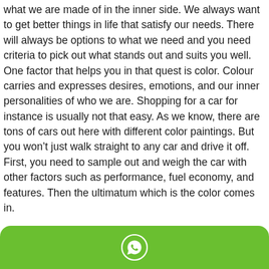what we are made of in the inner side. We always want to get better things in life that satisfy our needs. There will always be options to what we need and you need criteria to pick out what stands out and suits you well. One factor that helps you in that quest is color. Colour carries and expresses desires, emotions, and our inner personalities of who we are. Shopping for a car for instance is usually not that easy. As we know, there are tons of cars out here with different color paintings. But you won't just walk straight to any car and drive it off. First, you need to sample out and weigh the car with other factors such as performance, fuel economy, and features. Then the ultimatum which is the color comes in.
We all are different and everyone has his/her personality. Car color choice is one way of showing the world what we are made up of. Here is what your car’s color says about you.
[Figure (other): Green rounded footer bar with a white WhatsApp phone icon in the center]